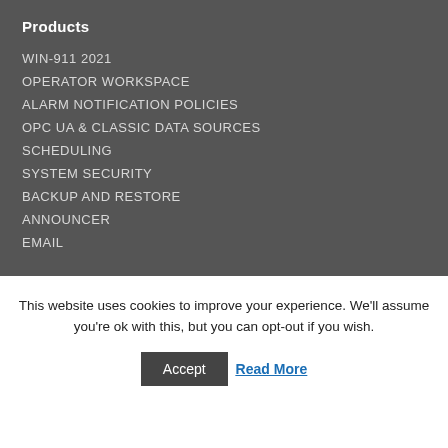Products
WIN-911 2021
OPERATOR WORKSPACE
ALARM NOTIFICATION POLICIES
OPC UA & CLASSIC DATA SOURCES
SCHEDULING
SYSTEM SECURITY
BACKUP AND RESTORE
ANNOUNCER
EMAIL
This website uses cookies to improve your experience. We'll assume you're ok with this, but you can opt-out if you wish.
Accept   Read More